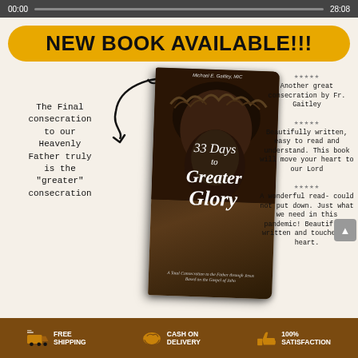00:00  28:08
NEW BOOK AVAILABLE!!!
The Final consecration to our Heavenly Father truly is the "greater" consecration
[Figure (photo): Book cover of '33 Days to Greater Glory' by Michael E. Gaitley, MIC. Shows a close-up image of a person with a crown of thorns. Subtitle: A Total Consecration to the Father through Jesus Based on the Gospel of John.]
★★★★★ Another great consecration by Fr. Gaitley
★★★★★ Beautifully written, easy to read and understand. This book will move your heart to our Lord
★★★★★ A wonderful read- could not put down. Just what we need in this pandemic! Beautifully written and touched my heart.
FREE SHIPPING   CASH ON DELIVERY   100% SATISFACTION